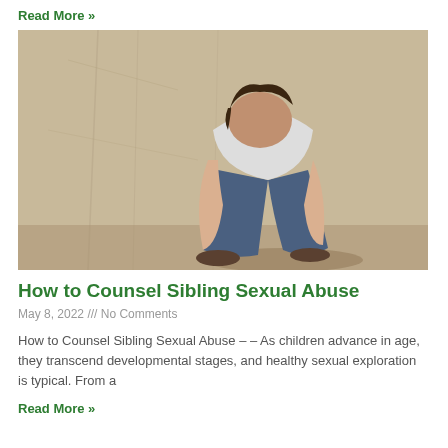Read More »
[Figure (photo): A young boy sitting curled up against a concrete wall with his head down on his knees, wearing jeans and a white shirt.]
How to Counsel Sibling Sexual Abuse
May 8, 2022 /// No Comments
How to Counsel Sibling Sexual Abuse – – As children advance in age, they transcend developmental stages, and healthy sexual exploration is typical. From a
Read More »